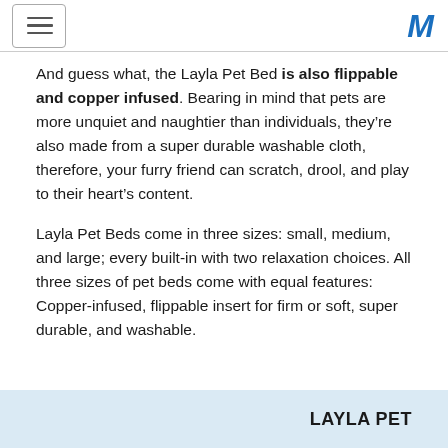[hamburger menu icon] [M logo]
And guess what, the Layla Pet Bed is also flippable and copper infused. Bearing in mind that pets are more unquiet and naughtier than individuals, they’re also made from a super durable washable cloth, therefore, your furry friend can scratch, drool, and play to their heart’s content.
Layla Pet Beds come in three sizes: small, medium, and large; every built-in with two relaxation choices. All three sizes of pet beds come with equal features: Copper-infused, flippable insert for firm or soft, super durable, and washable.
LAYLA PET